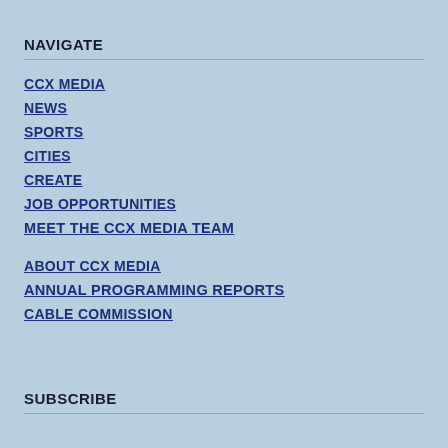NAVIGATE
CCX MEDIA
NEWS
SPORTS
CITIES
CREATE
JOB OPPORTUNITIES
MEET THE CCX MEDIA TEAM
ABOUT CCX MEDIA
ANNUAL PROGRAMMING REPORTS
CABLE COMMISSION
SUBSCRIBE